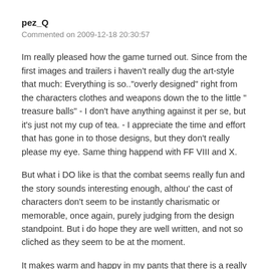pez_Q
Commented on 2009-12-18 20:30:57
Im really pleased how the game turned out. Since from the first images and trailers i haven't really dug the art-style that much: Everything is so.."overly designed" right from the characters clothes and weapons down the to the little " treasure balls" - I don't have anything against it per se, but it's just not my cup of tea. - I appreciate the time and effort that has gone in to those designs, but they don't really please my eye. Same thing happend with FF VIII and X.
But what i DO like is that the combat seems really fun and the story sounds interesting enough, althou' the cast of characters don't seem to be instantly charismatic or memorable, once again, purely judging from the design standpoint. But i do hope they are well written, and not so cliched as they seem to be at the moment.
It makes warm and happy in my pants that there is a really good looking interactive JRPG that comes to discuss to the